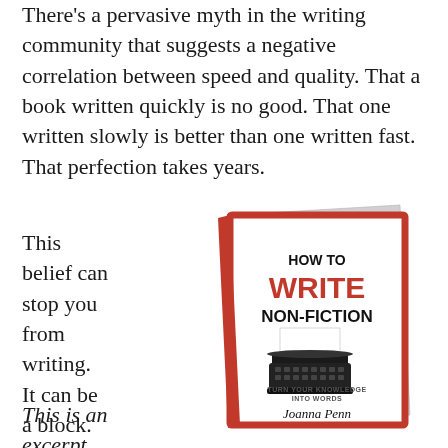There's a pervasive myth in the writing community that suggests a negative correlation between speed and quality. That a book written quickly is no good. That one written slowly is better than one written fast. That perfection takes years.
This belief can stop you from writing. It can be a block.
[Figure (photo): Book cover of 'How to Write Non-Fiction' by Joanna Penn, showing a vintage typewriter illustration. The cover has a red border, the word WRITE in red, and the subtitle 'Turn your knowledge into words'.]
This is an excerpt